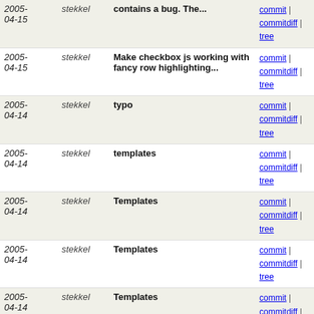| Date | Author | Message | Links |
| --- | --- | --- | --- |
| 2005-04-15 | stekkel | contains a bug. The... | commit | commitdiff | tree |
| 2005-04-15 | stekkel | Make checkbox js working with fancy row highlighting... | commit | commitdiff | tree |
| 2005-04-14 | stekkel | typo | commit | commitdiff | tree |
| 2005-04-14 | stekkel | templates | commit | commitdiff | tree |
| 2005-04-14 | stekkel | Templates | commit | commitdiff | tree |
| 2005-04-14 | stekkel | Templates | commit | commitdiff | tree |
| 2005-04-14 | stekkel | Templates | commit | commitdiff | tree |
| 2005-02-18 | stekkel | - Fixed bug #1032366, remove NUL characters in text... | commit | commitdiff | tree |
| 2005-02-18 | stekkel | Remove NUL characters in case of text and message parts. | commit | commitdiff | tree |
| 2005-02-18 | stekkel | Fix for bug #1124764. | commit | commitdiff | tree |
| 2005-02-18 | stekkel | Fixed bug #1124764. Show unsafe images in printable... | commit | commitdiff | tree |
| 2005-02-16 | stekkel | Fixed typo. | commit | commitdiff | tree |
| 2005-02-07 | stekkel | forward attachment filename fix | commit | commitdiff | tree |
| 2005-02-07 | stekkel | Fixed: filenames in case of forwarding a... | commit | commitdiff | tree |